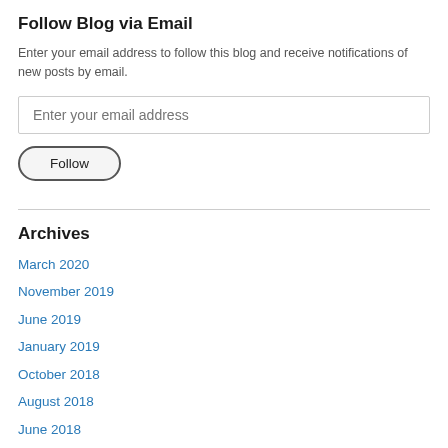Follow Blog via Email
Enter your email address to follow this blog and receive notifications of new posts by email.
Enter your email address
Follow
Archives
March 2020
November 2019
June 2019
January 2019
October 2018
August 2018
June 2018
May 2018